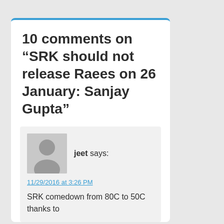10 comments on “SRK should not release Raees on 26 January: Sanjay Gupta”
jeet says:
11/29/2016 at 3:26 PM
SRK comedown from 80C to 50C thanks to